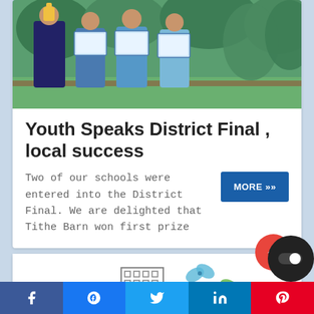[Figure (photo): Four students standing outdoors holding framed certificates, one holding a trophy, with greenery in the background.]
Youth Speaks District Final , local success
Two of our schools were entered into the District Final. We are delighted that Tithe Barn won first prize
[Figure (infographic): Partial view of a second article card with illustrated icons (building, butterflies).]
f  [messenger]  [twitter]  in  P  [toggle]